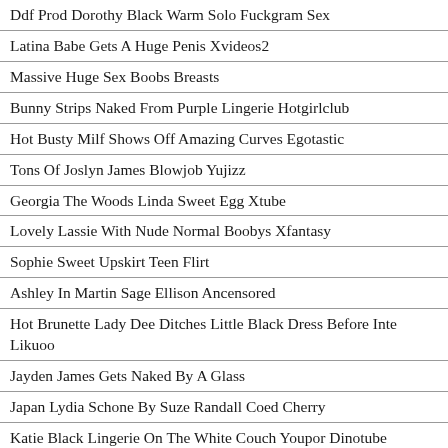Ddf Prod Dorothy Black Warm Solo Fuckgram Sex
Latina Babe Gets A Huge Penis Xvideos2
Massive Huge Sex Boobs Breasts
Bunny Strips Naked From Purple Lingerie Hotgirlclub
Hot Busty Milf Shows Off Amazing Curves Egotastic
Tons Of Joslyn James Blowjob Yujizz
Georgia The Woods Linda Sweet Egg Xtube
Lovely Lassie With Nude Normal Boobys Xfantasy
Sophie Sweet Upskirt Teen Flirt
Ashley In Martin Sage Ellison Ancensored
Hot Brunette Lady Dee Ditches Little Black Dress Before Inte Likuoo
Jayden James Gets Naked By A Glass
Japan Lydia Schone By Suze Randall Coed Cherry
Katie Black Lingerie On The White Couch Youpor Dinotube
BEAUTIFUL MODELS